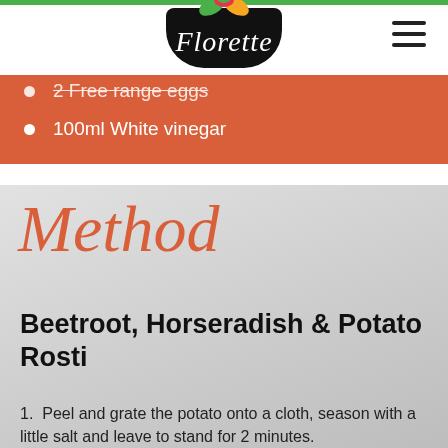Florette
2 Free range eggs
100ml White vinegar
Method
Beetroot, Horseradish & Potato Rosti
1. Peel and grate the potato onto a cloth, season with a little salt and leave to stand for 2 minutes.